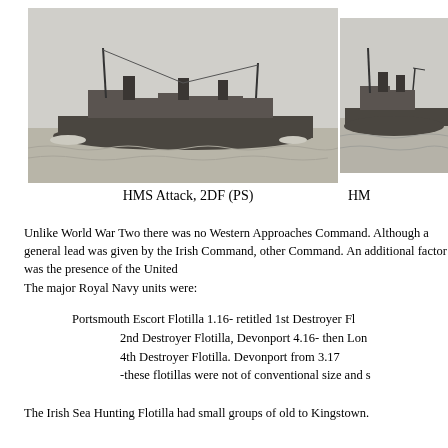[Figure (photo): Black and white photograph of HMS Attack, a Royal Navy destroyer, steaming at sea. The ship is seen from the side showing mast, funnels, and hull.]
[Figure (photo): Black and white photograph of a second Royal Navy destroyer (partially visible, cropped at right edge), steaming at sea.]
HMS Attack, 2DF (PS)
HM
Unlike World War Two there was no Western Approaches Command. Although a general lead was given by the Irish Command, other... Command. An additional factor was the presence of the United...
The major Royal Navy units were:
Portsmouth Escort Flotilla 1.16- retitled 1st Destroyer Fl...
2nd Destroyer Flotilla, Devonport 4.16- then Lon...
4th Destroyer Flotilla. Devonport from 3.17
-these flotillas were not of conventional size and s...
The Irish Sea Hunting Flotilla had small groups of old to... Kingstown.